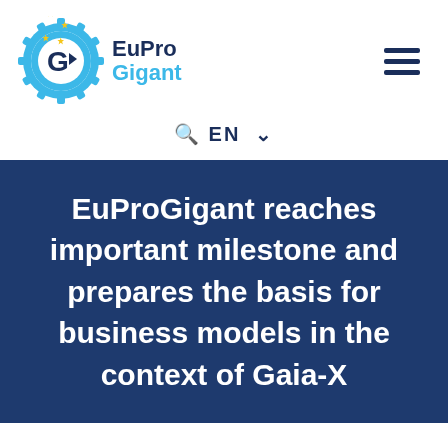[Figure (logo): EuProGigant logo: a gear with a stylized G and arrow in dark blue, with EU stars in gold, and cyan gear teeth, beside the text 'EuPro' in dark navy and 'Gigant' in cyan blue]
EuProGigant reaches important milestone and prepares the basis for business models in the context of Gaia-X